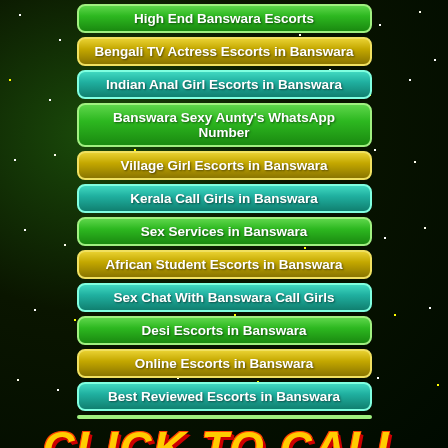High End Banswara Escorts
Bengali TV Actress Escorts in Banswara
Indian Anal Girl Escorts in Banswara
Banswara Sexy Aunty's WhatsApp Number
Village Girl Escorts in Banswara
Kerala Call Girls in Banswara
Sex Services in Banswara
African Student Escorts in Banswara
Sex Chat With Banswara Call Girls
Desi Escorts in Banswara
Online Escorts in Banswara
Best Reviewed Escorts in Banswara
CLICK TO CALL